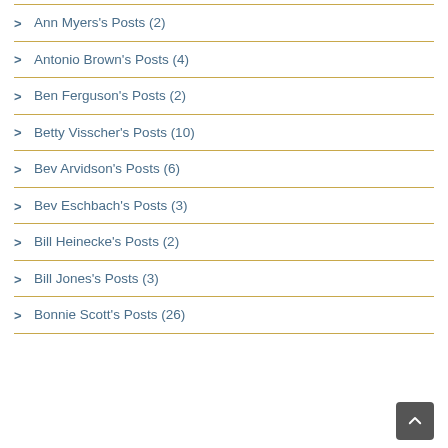Ann Myers's Posts (2)
Antonio Brown's Posts (4)
Ben Ferguson's Posts (2)
Betty Visscher's Posts (10)
Bev Arvidson's Posts (6)
Bev Eschbach's Posts (3)
Bill Heinecke's Posts (2)
Bill Jones's Posts (3)
Bonnie Scott's Posts (26)